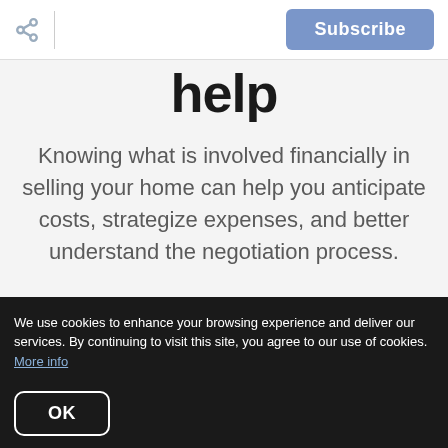Subscribe
help
Knowing what is involved financially in selling your home can help you anticipate costs, strategize expenses, and better understand the negotiation process.
In the end, having an idea of where your money will go helps plan your next move with
We use cookies to enhance your browsing experience and deliver our services. By continuing to visit this site, you agree to our use of cookies. More info
OK